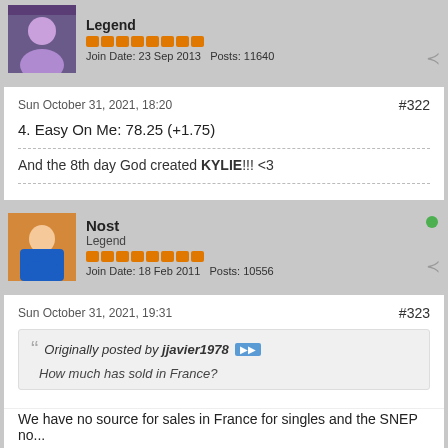Legend
Join Date: 23 Sep 2013   Posts: 11640
Sun October 31, 2021, 18:20
#322
4. Easy On Me: 78.25 (+1.75)
And the 8th day God created KYLIE!!! <3
Nost
Legend
Join Date: 18 Feb 2011   Posts: 10556
Sun October 31, 2021, 19:31
#323
Originally posted by jjavier1978
How much has sold in France?
We have no source for sales in France for singles and the SNEP no...